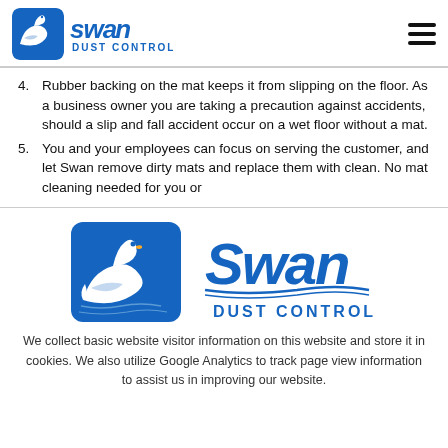Swan Dust Control
4. Rubber backing on the mat keeps it from slipping on the floor. As a business owner you are taking a precaution against accidents, should a slip and fall accident occur on a wet floor without a mat.
5. You and your employees can focus on serving the customer, and let Swan remove dirty mats and replace them with clean. No mat cleaning needed for you or
[Figure (logo): Swan Dust Control logo: blue rounded square with white swan illustration, next to stylized blue Swan text and DUST CONTROL subtitle]
We collect basic website visitor information on this website and store it in cookies. We also utilize Google Analytics to track page view information to assist us in improving our website.